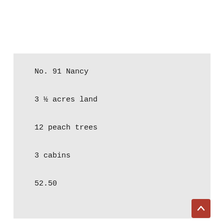No. 91 Nancy
3 ½ acres land
12 peach trees
3 cabins
52.50